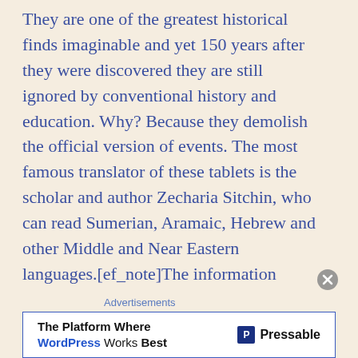They are one of the greatest historical finds imaginable and yet 150 years after they were discovered they are still ignored by conventional history and education. Why? Because they demolish the official version of events. The most famous translator of these tablets is the scholar and author Zecharia Sitchin, who can read Sumerian, Aramaic, Hebrew and other Middle and Near Eastern languages.[ef_note]The information about the Annunaki and the Sumerian tablets comes from the Zechariah Sitchin series of books collectively known as the Earth Chronicles. Individually they are called The
Advertisements
[Figure (other): Advertisement banner for Pressable: 'The Platform Where WordPress Works Best' with Pressable logo on the right.]